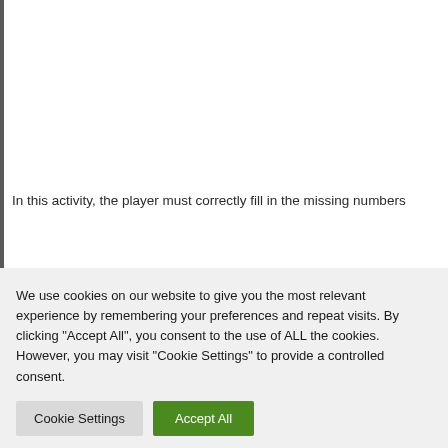In this activity, the player must correctly fill in the missing numbers
We use cookies on our website to give you the most relevant experience by remembering your preferences and repeat visits. By clicking "Accept All", you consent to the use of ALL the cookies. However, you may visit "Cookie Settings" to provide a controlled consent.